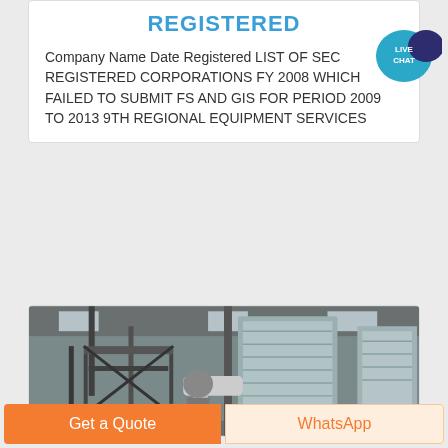REGISTERED
Company Name Date Registered LIST OF SEC REGISTERED CORPORATIONS FY 2008 WHICH FAILED TO SUBMIT FS AND GIS FOR PERIOD 2009 TO 2013 9TH REGIONAL EQUIPMENT SERVICES
[Figure (photo): Interior of an industrial factory/warehouse showing large steel equipment, conveyor structures, pipes, and machinery under a high ceiling with windows]
Get a Quote
WhatsApp